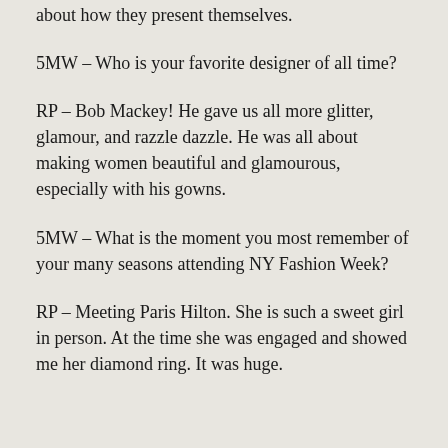about how they present themselves.
5MW – Who is your favorite designer of all time?
RP – Bob Mackey! He gave us all more glitter, glamour, and razzle dazzle. He was all about making women beautiful and glamourous, especially with his gowns.
5MW – What is the moment you most remember of your many seasons attending NY Fashion Week?
RP – Meeting Paris Hilton. She is such a sweet girl in person. At the time she was engaged and showed me her diamond ring. It was huge.